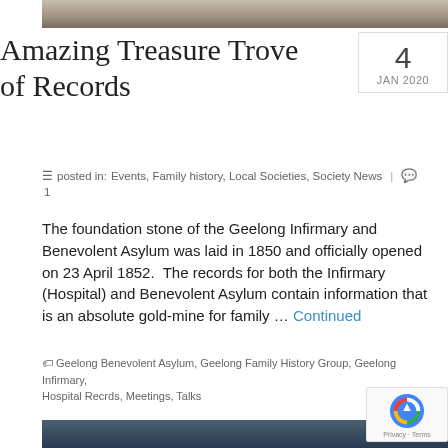[Figure (photo): Partial top edge of a historical black and white photograph]
Amazing Treasure Trove of Records
4
JAN 2020
posted in: Events, Family history, Local Societies, Society News | 1
The foundation stone of the Geelong Infirmary and Benevolent Asylum was laid in 1850 and officially opened on 23 April 1852.  The records for both the Infirmary (Hospital) and Benevolent Asylum contain information that is an absolute gold-mine for family … Continued
Geelong Benevolent Asylum, Geelong Family History Group, Geelong Infirmary, Hospital Recrds, Meetings, Talks
[Figure (photo): Partial bottom edge of a photograph, dark blue/grey tones]